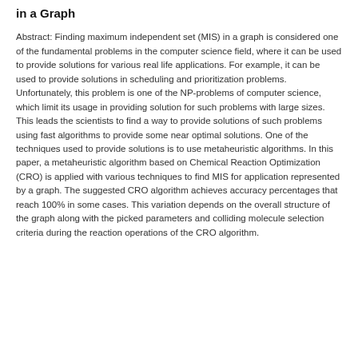in a Graph
Abstract: Finding maximum independent set (MIS) in a graph is considered one of the fundamental problems in the computer science field, where it can be used to provide solutions for various real life applications. For example, it can be used to provide solutions in scheduling and prioritization problems. Unfortunately, this problem is one of the NP-problems of computer science, which limit its usage in providing solution for such problems with large sizes. This leads the scientists to find a way to provide solutions of such problems using fast algorithms to provide some near optimal solutions. One of the techniques used to provide solutions is to use metaheuristic algorithms. In this paper, a metaheuristic algorithm based on Chemical Reaction Optimization (CRO) is applied with various techniques to find MIS for application represented by a graph. The suggested CRO algorithm achieves accuracy percentages that reach 100% in some cases. This variation depends on the overall structure of the graph along with the picked parameters and colliding molecule selection criteria during the reaction operations of the CRO algorithm.